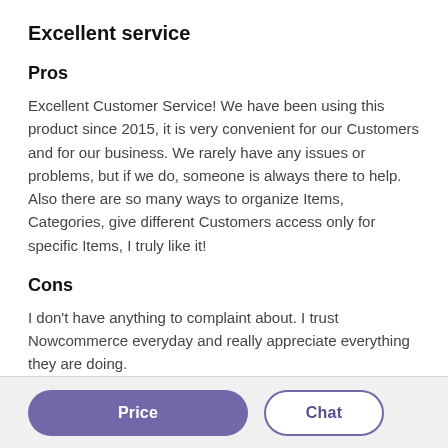Excellent service
Pros
Excellent Customer Service! We have been using this product since 2015, it is very convenient for our Customers and for our business. We rarely have any issues or problems, but if we do, someone is always there to help. Also there are so many ways to organize Items, Categories, give different Customers access only for specific Items, I truly like it!
Cons
I don't have anything to complaint about. I trust Nowcommerce everyday and really appreciate everything they are doing.